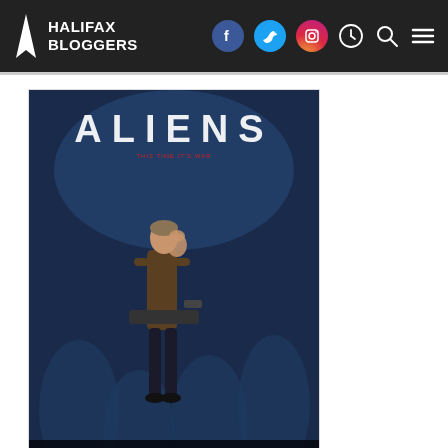HALIFAX BLOGGERS
[Figure (photo): Aliens (1986) movie poster showing a woman holding a child and a gun, against a blue alien background with the word ALIENS at the top]
James Cameron lets the tension simmer for the first 40 minutes, then it's full on action from there on, with our